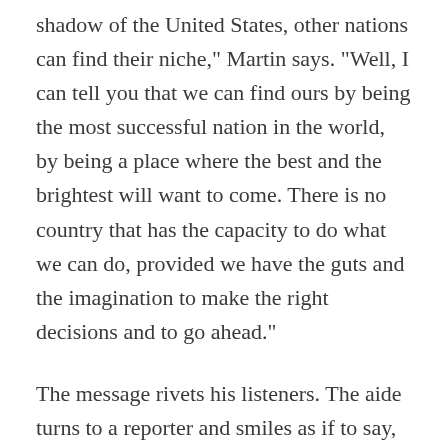shadow of the United States, other nations can find their niche," Martin says. "Well, I can tell you that we can find ours by being the most successful nation in the world, by being a place where the best and the brightest will want to come. There is no country that has the capacity to do what we can do, provided we have the guts and the imagination to make the right decisions and to go ahead."
The message rivets his listeners. The aide turns to a reporter and smiles as if to say, "How's that for a vision?"
The unspoken implication, of course, is that Martin, who apprenticed for the job as